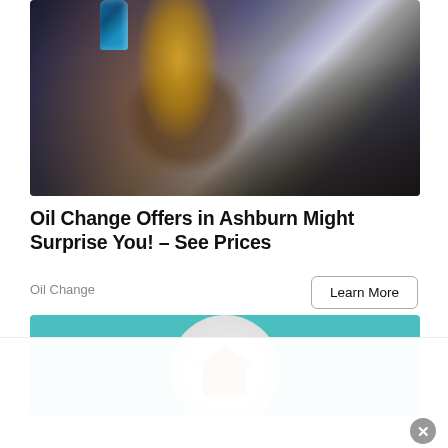[Figure (photo): Photo of motor oil being poured into a car engine from a blue bottle, golden oil stream visible against dark engine components with warm orange ambient light]
Oil Change Offers in Ashburn Might Surprise You! – See Prices
Oil Change
[Figure (logo): Circular logo on teal background with house/home icon in orange and red tones]
[Figure (other): White overlay bar at bottom of page with close X button]